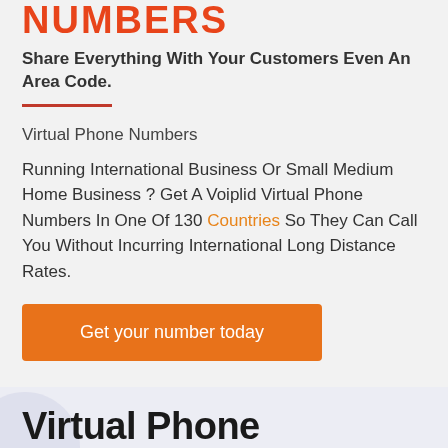NUMBERS
Share Everything With Your Customers Even An Area Code.
Virtual Phone Numbers
Running International Business Or Small Medium Home Business ? Get A Voiplid Virtual Phone Numbers In One Of 130 Countries So They Can Call You Without Incurring International Long Distance Rates.
Get your number today
Virtual Phone Numbers